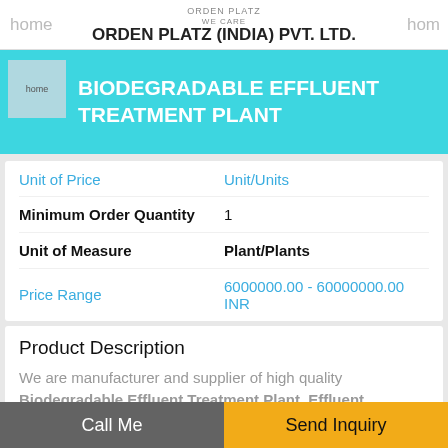home  ORDEN PLATZ (INDIA) PVT. LTD.  home
BIODEGRADABLE EFFLUENT TREATMENT PLANT
| Field | Value |
| --- | --- |
| Unit of Price | Unit/Units |
| Minimum Order Quantity | 1 |
| Unit of Measure | Plant/Plants |
| Price Range | 6000000.00 - 60000000.00 INR |
Product Description
We are manufacturer and supplier of high quality Biodegradable Effluent Treatment Plant, Effluent Treatment Plant and Industrial Biodegradable Effluent Treatment Plant from